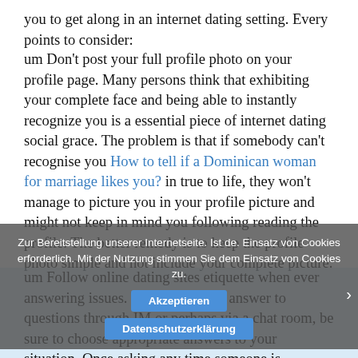you to get along in an internet dating setting. Every points to consider:
um Don't post your full profile photo on your profile page. Many persons think that exhibiting your complete face and being able to instantly recognize you is a essential piece of internet dating social grace. The problem is that if somebody can't recognise you How to tell if a Dominican woman for marriage likes you? in true to life, they won't manage to picture you in your profile picture and might not keep in mind you following reading the profile. The better remedy is to keep the profile photo simple and not include your complete picture.
Zur Bereitstellung unserer Internetseite. Ist de. Einsatz von Cookies erforderlich. Mit der Nutzung stimmen Sie dem Einsatz von Cookies zu.
Akzeptieren
Datenschutzerklärung
um Follow online dating sites etiquette when ever answering issues. When giving an answer to questions through IM or perhaps via a chat room, be sure to choose appropriate answers to your situation. Once asking any time someone is